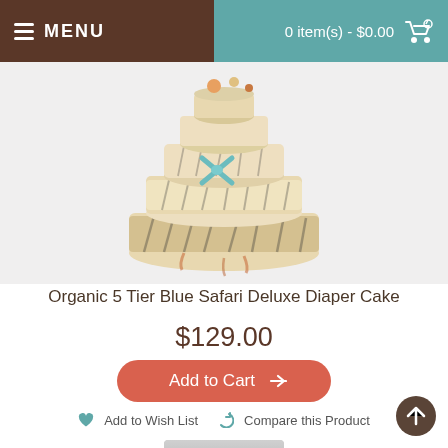MENU | 0 item(s) - $0.00
[Figure (photo): Organic 5 Tier Blue Safari Deluxe Diaper Cake product photo showing a stacked diaper cake with zebra print and blue accents]
Organic 5 Tier Blue Safari Deluxe Diaper Cake
$129.00
Add to Cart
Add to Wish List    Compare this Product
[Figure (photo): Bottom portion of a second diaper cake product, light gray/white color, partially visible]